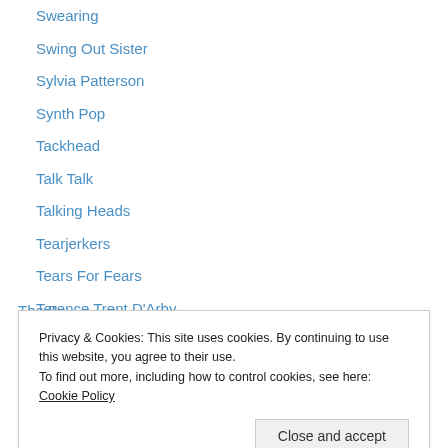Swearing
Swing Out Sister
Sylvia Patterson
Synth Pop
Tackhead
Talk Talk
Talking Heads
Tearjerkers
Tears For Fears
Terence Trent D'Arby
Terje Rypdal
Tessa Niles
The 12th Man
The Cure
Privacy & Cookies: This site uses cookies. By continuing to use this website, you agree to their use. To find out more, including how to control cookies, see here: Cookie Policy